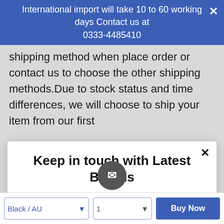International import will take 10 to 60 working days Contact us at 0333-4485410
shipping method when place order or contact us to choose the other shipping methods.Due to stock status and time differences, we will choose to ship your item from our first
Keep in touch with Latest Brands
Signup today for free and get notified on new updates.
Enter your email
Subscribe
Black / AU
1
Buy Now